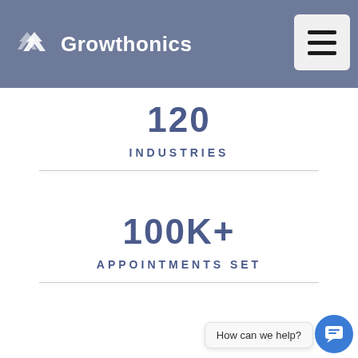Growthonics
120
INDUSTRIES
100K+
APPOINTMENTS SET
How can we help?